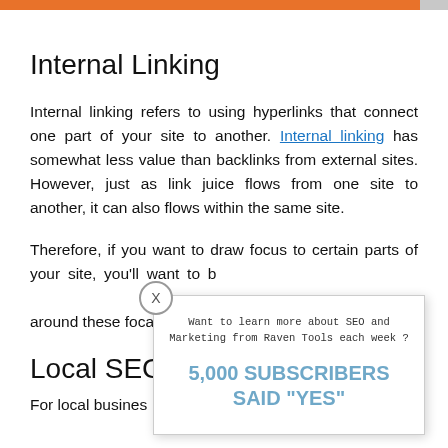Internal Linking
Internal linking refers to using hyperlinks that connect one part of your site to another. Internal linking has somewhat less value than backlinks from external sites. However, just as link juice flows from one site to another, it can also flows within the same site.
Therefore, if you want to draw focus to certain parts of your site, you'll want to build a strong internal linking strategy around these focal pages.
Local SEO
For local business
[Figure (screenshot): Popup overlay with close button (X), text 'Want to learn more about SEO and Marketing from Raven Tools each week?' and large text '5,000 SUBSCRIBERS SAID "YES"']